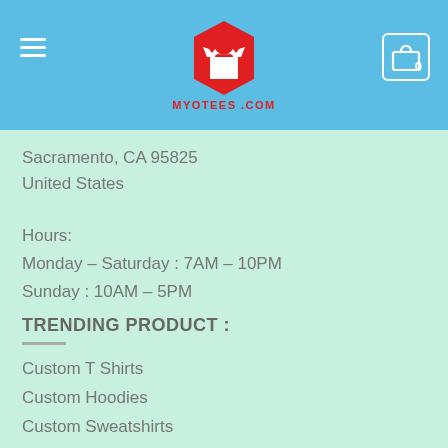[Figure (logo): MyoTees.com logo: red hexagonal t-shirt icon with text MYOTEES.COM below, on blue header bar with hamburger menu on left and cart icon on right]
Sacramento, CA 95825
United States
Hours:
Monday – Saturday : 7AM – 10PM
Sunday : 10AM – 5PM
TRENDING PRODUCT :
Custom T Shirts
Custom Hoodies
Custom Sweatshirts
Custom Tank Top